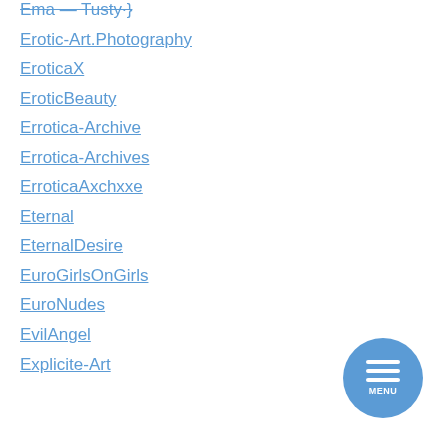Ema — Tusty·}
Erotic-Art.Photography
EroticaX
EroticBeauty
Errotica-Archive
Errotica-Archives
ErroticaAxchxxe
Eternal
EternalDesire
EuroGirlsOnGirls
EuroNudes
EvilAngel
Explicite-Art